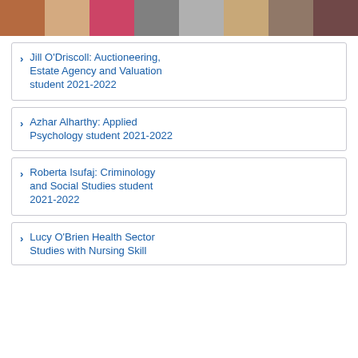[Figure (photo): Strip of portrait photos of students at top of page]
Jill O'Driscoll: Auctioneering, Estate Agency and Valuation student 2021-2022
Azhar Alharthy: Applied Psychology student 2021-2022
Roberta Isufaj: Criminology and Social Studies student 2021-2022
Lucy O'Brien Health Sector Studies with Nursing Skills